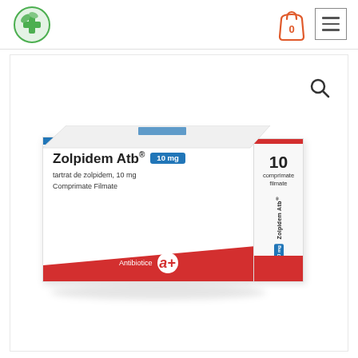[Figure (screenshot): Online pharmacy website header with green leaf plus logo, shopping cart icon showing 0, and hamburger menu icon]
[Figure (photo): Product photo of Zolpidem Atb 10mg film-coated tablets box by Antibiotice. White box with blue and red design elements, showing 10 comprimate filmate (film-coated tablets). tartrat de zolpidem 10mg.]